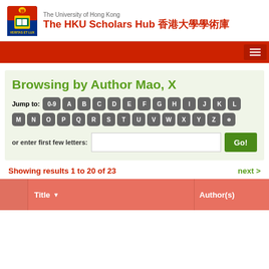The University of Hong Kong — The HKU Scholars Hub 香港大學學術庫
Browsing by Author Mao, X
Jump to: 0-9 A B C D E F G H I J K L M N O P Q R S T U V W X Y Z
or enter first few letters: [input] Go!
Showing results 1 to 20 of 23
next >
|  | Title | Author(s) |
| --- | --- | --- |